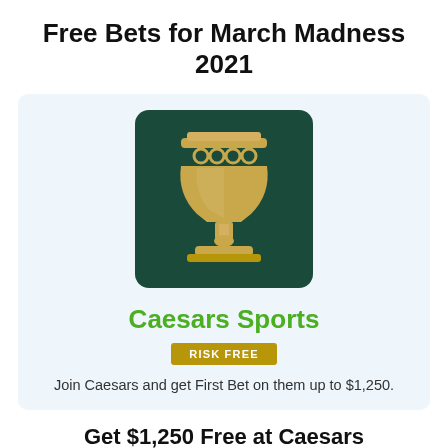Free Bets for March Madness 2021
[Figure (logo): Caesars Sports golden chalice/goblet logo on dark green rounded rectangle background]
Caesars Sports
RISK FREE
Join Caesars and get First Bet on them up to $1,250.
Get $1,250 Free at Caesars